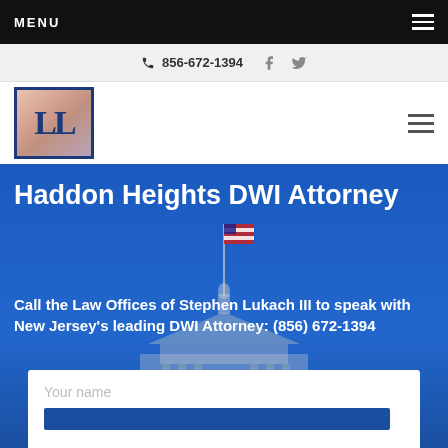MENU
856-672-1394
[Figure (logo): LL logo — two stylized letter Ls in dark blue on a pink/salmon gradient background, inside a dark blue border]
Haddon Heights DWI Attorney
Call the Law Offices of Stephen Lukach III to speak with New Jersey's leading DWI Attorney: (856) 672-1394
Your name